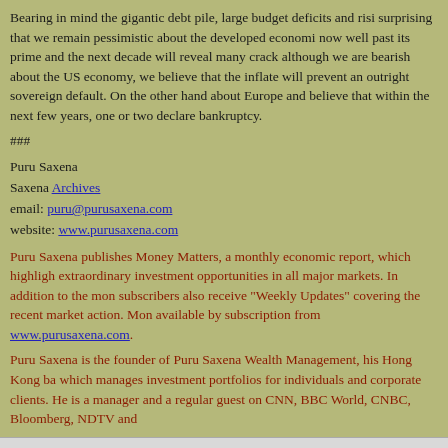Bearing in mind the gigantic debt pile, large budget deficits and rising interest rates, it is not surprising that we remain pessimistic about the developed economies. The debt-driven era is now well past its prime and the next decade will reveal many cracks in the system. However, although we are bearish about the US economy, we believe that the Fed's ability to print and inflate will prevent an outright sovereign default. On the other hand, we are more concerned about Europe and believe that within the next few years, one or two European nations will declare bankruptcy.
###
Puru Saxena
Saxena Archives
email: puru@purusaxena.com
website: www.purusaxena.com
Puru Saxena publishes Money Matters, a monthly economic report, which highlights extraordinary investment opportunities in all major markets. In addition to the monthly report, subscribers also receive "Weekly Updates" covering the recent market action. Money Matters is available by subscription from www.purusaxena.com.
Puru Saxena is the founder of Puru Saxena Wealth Management, his Hong Kong based firm, which manages investment portfolios for individuals and corporate clients. He is a celebrated fund manager and a regular guest on CNN, BBC World, CNBC, Bloomberg, NDTV and various other channels.
Copyright ©2005-2015 Puru Saxena Limited. All rights reserved.